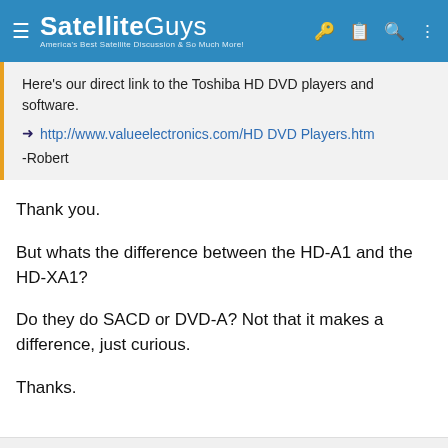SatelliteGuys — America's Best Satellite Discussion & So Much More!
Here's our direct link to the Toshiba HD DVD players and software.
➡ http://www.valueelectronics.com/HD DVD Players.htm
-Robert
Thank you.
But whats the difference between the HD-A1 and the HD-XA1?
Do they do SACD or DVD-A? Not that it makes a difference, just curious.
Thanks.